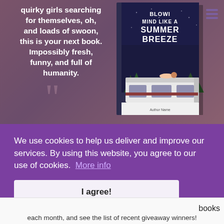quirky girls searching for themselves, oh, and loads of swoon, this is your next book. Impossibly fresh, funny, and full of humanity.
[Figure (illustration): Book cover of 'Blowing Mind Like a Summer Breeze' showing a person lying on top of an RV/camper van under a night sky with pine trees]
We use cookies to help us deliver and improve our services. By using this website, you agree to our use of cookies.  More info
I agree!
books
each month, and see the list of recent giveaway winners!